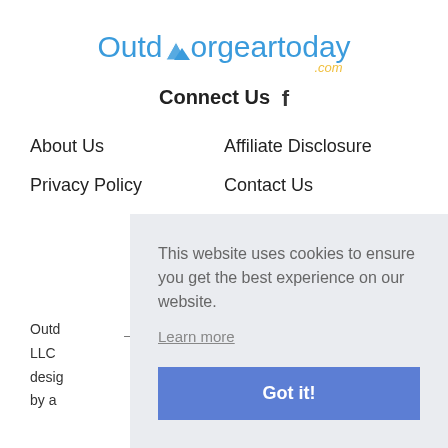[Figure (logo): Outdoorgeartoday.com logo in blue text with mountain icon and yellow .com]
Connect Us f
About Us
Affiliate Disclosure
Privacy Policy
Contact Us
Outd... LLC... desig... by a...
This website uses cookies to ensure you get the best experience on our website. Learn more Got it!